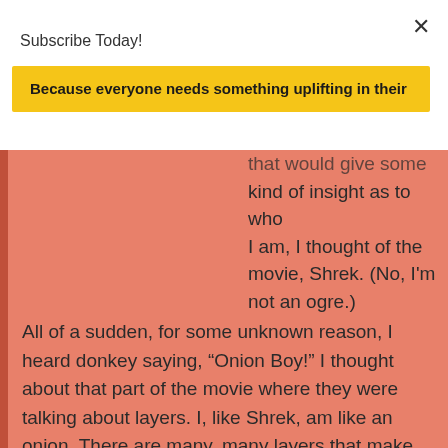Subscribe Today!
Because everyone needs something uplifting in their
that would give some kind of insight as to who I am, I thought of the movie, Shrek. (No, I'm not an ogre.)
All of a sudden, for some unknown reason, I heard donkey saying, “Onion Boy!” I thought about that part of the movie where they were talking about layers. I, like Shrek, am like an onion. There are many, many layers that make up the being that is Alicia Leitzel.